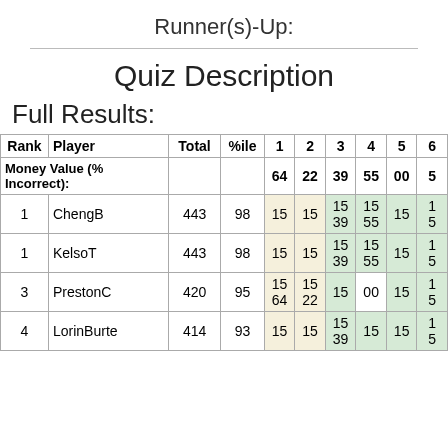Runner(s)-Up:
| Rank | Player | Total | %ile | 1 | 2 | 3 | 4 | 5 | 6 |
| --- | --- | --- | --- | --- | --- | --- | --- | --- | --- |
| Money Value (% Incorrect): |  |  |  | 64 | 22 | 39 | 55 | 00 | 5 |
| 1 | ChengB | 443 | 98 | 15 | 15 | 15
39 | 15
55 | 15 | 1
5 |
| 1 | KelsoT | 443 | 98 | 15 | 15 | 15
39 | 15
55 | 15 | 1
5 |
| 3 | PrestonC | 420 | 95 | 15
64 | 15
22 | 15 | 00 | 15 | 1
5 |
| 4 | LorinBurte | 414 | 93 | 15 | 15 | 15
39 | 15 | 15 | 1
5 |